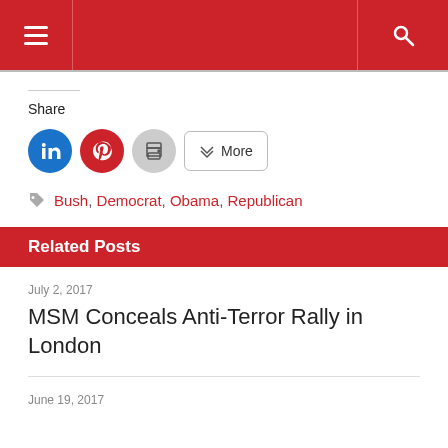Navigation header with menu and search icons
Share
LinkedIn, Pinterest, Print, More share buttons
Bush, Democrat, Obama, Republican
Related Posts
July 2, 2017
MSM Conceals Anti-Terror Rally in London
June 19, 2017